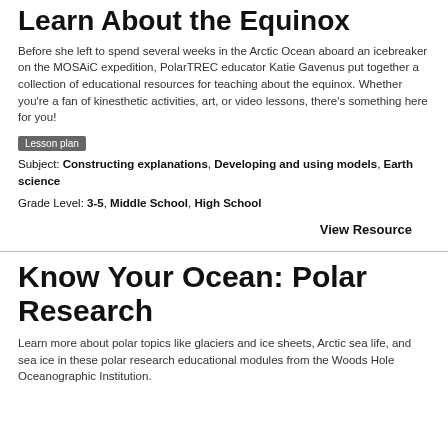Learn About the Equinox
Before she left to spend several weeks in the Arctic Ocean aboard an icebreaker on the MOSAiC expedition, PolarTREC educator Katie Gavenus put together a collection of educational resources for teaching about the equinox. Whether you're a fan of kinesthetic activities, art, or video lessons, there's something here for you!
Lesson plan
Subject: Constructing explanations, Developing and using models, Earth science
Grade Level: 3-5, Middle School, High School
View Resource
Know Your Ocean: Polar Research
Learn more about polar topics like glaciers and ice sheets, Arctic sea life, and sea ice in these polar research educational modules from the Woods Hole Oceanographic Institution.